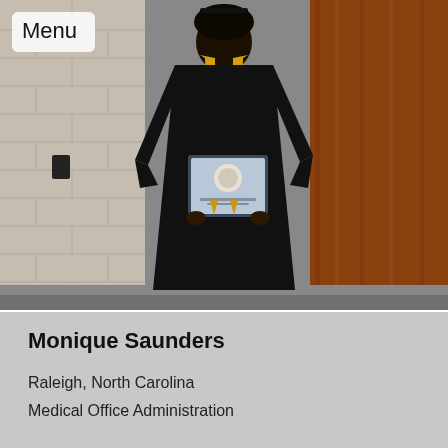[Figure (photo): A person in a black graduation gown and gold/yellow stole, holding a framed diploma or certificate, standing in front of a brick wall and wood-paneled wall.]
Menu
Monique Saunders
Raleigh, North Carolina
Medical Office Administration
Medical Office Administration